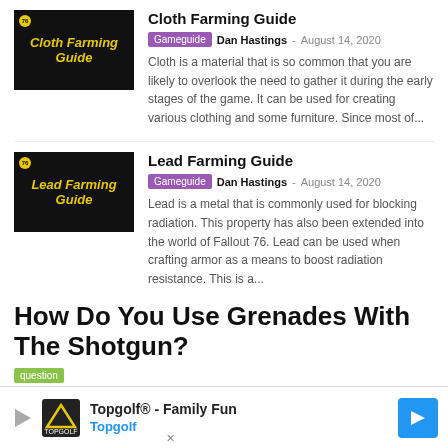[Figure (illustration): Fallout 76 Cloth Farming Guide thumbnail — dark background with yellow italic text 'Cloth Farming Guide']
Cloth Farming Guide
Gameguide  Dan Hastings – August 14, 2020
Cloth is a material that is so common that you are likely to overlook the need to gather it during the early stages of the game. It can be used for creating various clothing and some furniture. Since most of...
[Figure (illustration): Fallout 76 Lead Farming Guide thumbnail — dark background with yellow italic text 'Lead Farming Guide']
Lead Farming Guide
Gameguide  Dan Hastings – August 14, 2020
Lead is a metal that is commonly used for blocking radiation. This property has also been extended into the world of Fallout 76. Lead can be used when crafting armor as a means to boost radiation resistance. This is a...
How Do You Use Grenades With The Shotgun?
question
Topgolf® - Family Fun  Topgolf